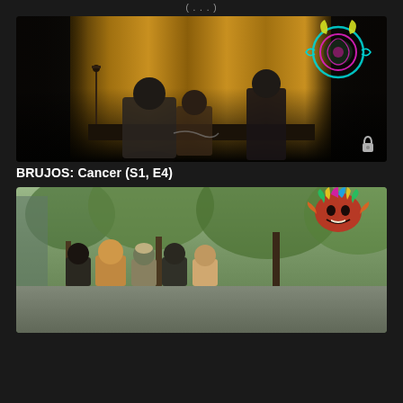( ... )
[Figure (photo): Dark theatrical scene with golden curtains, figures on stage including a person in chains on a chair, a standing person in gray, and a woman in black, with a colorful neon demon/scorpion logo overlay in top-right corner and a lock icon in bottom-right]
BRUJOS: Cancer (S1, E4)
[Figure (photo): Outdoor daytime scene showing a group of people walking on a sidewalk with trees in the background, with a colorful Aztec-style mask/dragon logo overlay in the top-right corner]